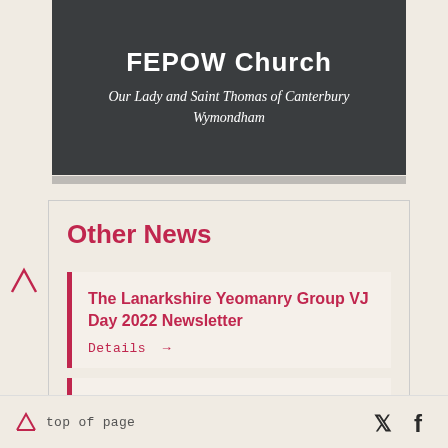[Figure (photo): Dark grey banner with text 'FEPOW Church' and subtitle 'Our Lady and Saint Thomas of Canterbury Wymondham']
Other News
The Lanarkshire Yeomanry Group VJ Day 2022 Newsletter
Details →
Roll of honour for BAFEPOW Honoury Chairman Roy Medford
top of page